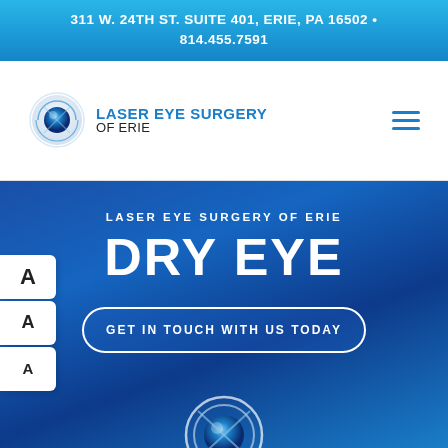311 W. 24TH ST. SUITE 401, ERIE, PA 16502 • 814.455.7591
[Figure (logo): Laser Eye Surgery of Erie logo with circular blue globe/eye icon and text 'LASER EYE SURGERY OF ERIE']
LASER EYE SURGERY OF ERIE
DRY EYE
GET IN TOUCH WITH US TODAY
[Figure (logo): Partial Laser Eye Surgery of Erie circular logo watermark at bottom of hero section]